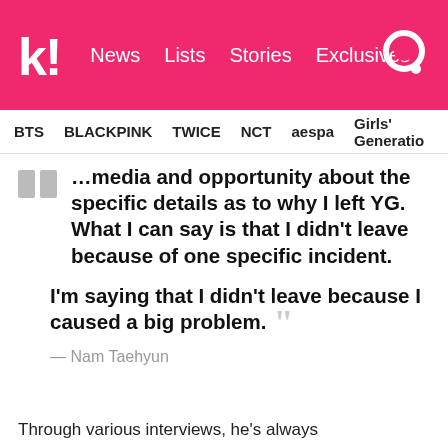Koreaboo — News, Lists, Stories, Exclusives
BTS   BLACKPINK   TWICE   NCT   aespa   Girls' Generation
...media and opportunity about the specific details as to why I left YG. What I can say is that I didn't leave because of one specific incident.

I'm saying that I didn't leave because I caused a big problem.
— Nam Taehyun
Through various interviews, he's always